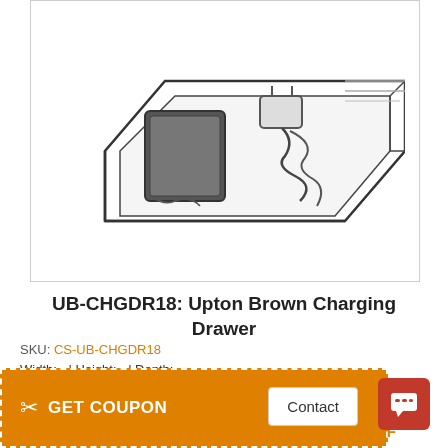[Figure (illustration): Line drawing illustration of a wooden charging drawer tray containing a tablet/phone, a charger, and cables.]
UB-CHGDR18: Upton Brown Charging Drawer
SKU: CS-UB-CHGDR18
Width: - | Height: - | Depth: -
GET COUPON
0% OFF
Contact